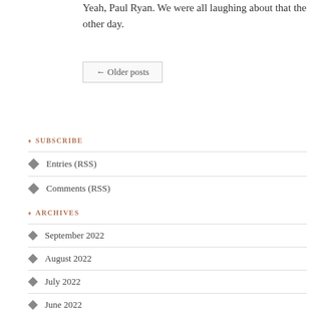Yeah, Paul Ryan. We were all laughing about that the other day.
← Older posts
♦ SUBSCRIBE
Entries (RSS)
Comments (RSS)
♦ ARCHIVES
September 2022
August 2022
July 2022
June 2022